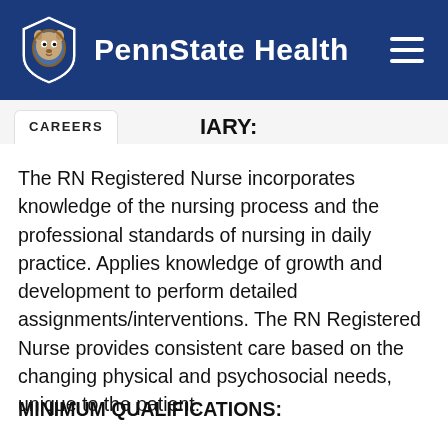[Figure (logo): PennState Health logo with lion mascot shield and white text on dark blue header background with hamburger menu icon]
CAREERS
IARY:
The RN Registered Nurse incorporates knowledge of the nursing process and the professional standards of nursing in daily practice. Applies knowledge of growth and development to perform detailed assignments/interventions. The RN Registered Nurse provides consistent care based on the changing physical and psychosocial needs, unique to the patient.
MINIMUM QUALIFICATIONS: